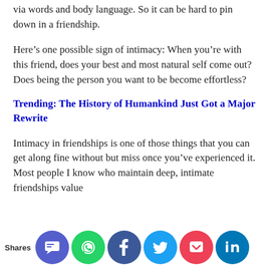via words and body language. So it can be hard to pin down in a friendship.
Here’s one possible sign of intimacy: When you’re with this friend, does your best and most natural self come out? Does being the person you want to be become effortless?
Trending: The History of Humankind Just Got a Major Rewrite
Intimacy in friendships is one of those things that you can get along fine without but miss once you’ve experienced it. Most people I know who maintain deep, intimate friendships value …se…on… m…igh…an…eve…